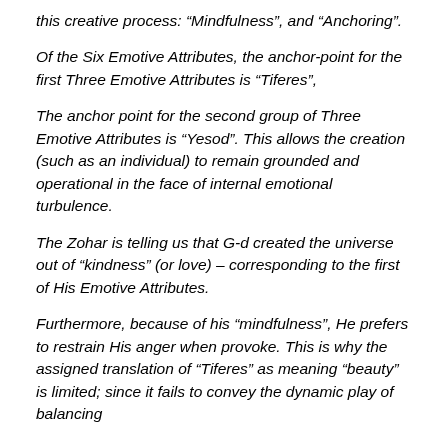this creative process: “Mindfulness”, and “Anchoring”.
Of the Six Emotive Attributes, the anchor-point for the first Three Emotive Attributes is “Tiferes”,
The anchor point for the second group of Three Emotive Attributes is “Yesod”. This allows the creation (such as an individual) to remain grounded and operational in the face of internal emotional turbulence.
The Zohar is telling us that G-d created the universe out of “kindness” (or love) – corresponding to the first of His Emotive Attributes.
Furthermore, because of his “mindfulness”, He prefers to restrain His anger when provoke. This is why the assigned translation of “Tiferes” as meaning “beauty” is limited; since it fails to convey the dynamic play of balancing